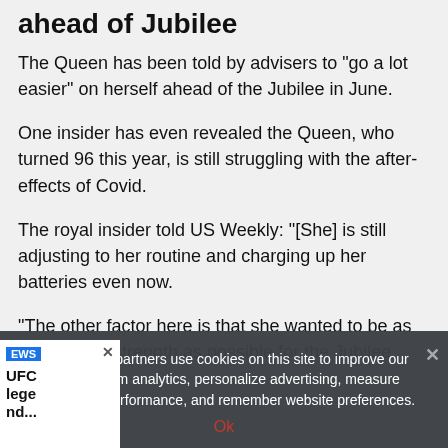ahead of Jubilee
The Queen has been told by advisers to “go a lot easier” on herself ahead of the Jubilee in June.
One insider has even revealed the Queen, who turned 96 this year, is still struggling with the after-effects of Covid.
The royal insider told US Weekly: “[She] is still adjusting to her routine and charging up her batteries even now.
“The other factor here is that she wanted to be as close to full strength as possible for the Jubilee
We and our partners use cookies on this site to improve our service, form analytics, personalize advertising, measure advertising performance, and remember website preferences.
Ok
EWS UFC lege nd...